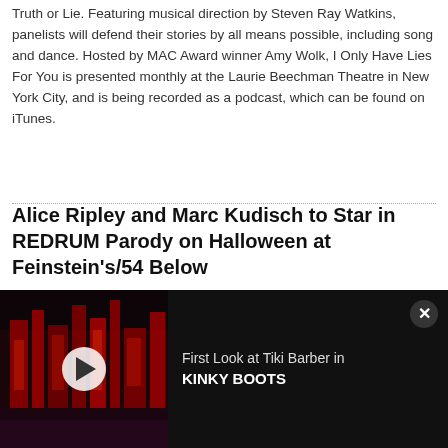Truth or Lie. Featuring musical direction by Steven Ray Watkins, panelists will defend their stories by all means possible, including song and dance. Hosted by MAC Award winner Amy Wolk, I Only Have Lies For You is presented monthly at the Laurie Beechman Theatre in New York City, and is being recorded as a podcast, which can be found on iTunes.
Alice Ripley and Marc Kudisch to Star in REDRUM Parody on Halloween at Feinstein's/54 Below
by BWW News Desk - Oct 11, 2016
Feinstein's/54 Below, Broadway's Supper Club, presents Tony Award winner Alice Ripley (Next To Normal, American Psycho) and three-time Tony nominee Marc Kudisch (Hand To God, Finding Neverland) as 'Wendy' and 'Jack' in 'REDRUM: The Shining Parody Unauthorized' on Halloween
[Figure (screenshot): Video advertisement thumbnail showing a theatrical stage set with red geometric structures against a dark background, with a play button overlay. Text reads: First Look at Tiki Barber in KINKY BOOTS]